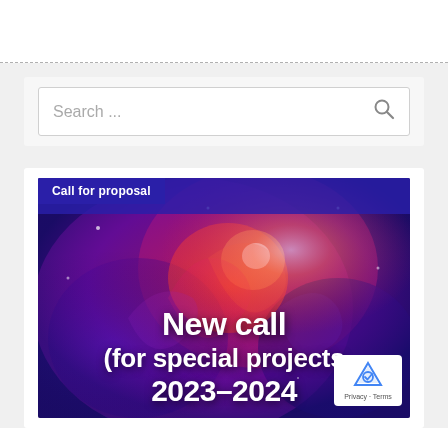[Figure (screenshot): Website screenshot showing a search bar and a call for proposal banner image with text 'New call for special projects 2023-2024' on a colorful abstract background with a reCAPTCHA badge.]